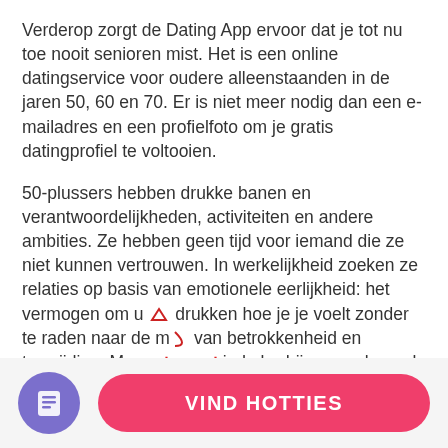Verderop zorgt de Dating App ervoor dat je tot nu toe nooit senioren mist. Het is een online datingservice voor oudere alleenstaanden in de jaren 50, 60 en 70. Er is niet meer nodig dan een e-mailadres en een profielfoto om je gratis datingprofiel te voltooien.
50-plussers hebben drukke banen en verantwoordelijkheden, activiteiten en andere ambities. Ze hebben geen tijd voor iemand die ze niet kunnen vertrouwen. In werkelijkheid zoeken ze relaties op basis van emotionele eerlijkheid: het vermogen om u [^] drukken hoe je je voelt zonder te raden naar de m[~]van betrokkenheid en toewijding. Meer [23%]igde bedrijven spelen ook in op volwassen daters, zoals Silver Singles.
[Figure (other): Bottom navigation bar with a purple circular icon showing a document/list symbol on the left, and a pink rounded rectangle button labeled 'VIND HOTTIES' on the right.]